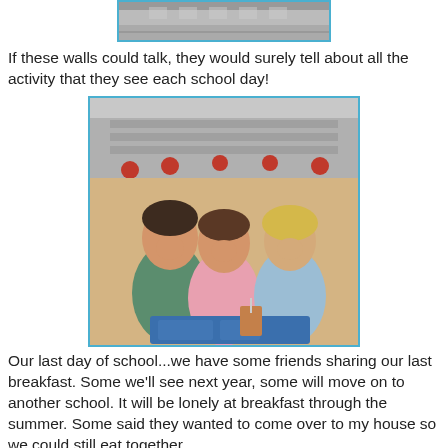[Figure (photo): Top portion of a photo showing what appears to be a school hallway or cafeteria interior, partially cropped at top of page]
If these walls could talk, they would surely tell about all the activity that they see each school day!
[Figure (photo): Three children in a school cafeteria smiling and hugging each other, with blue lunch trays on the table in front of them and cafeteria seating visible in background]
Our last day of school...we have some friends sharing our last breakfast. Some we'll see next year, some will move on to another school. It will be lonely at breakfast through the summer. Some said they wanted to come over to my house so we could still eat together.
[Figure (photo): Bottom portion of another photo showing what appears to be a school hallway or classroom, partially visible at bottom of page]